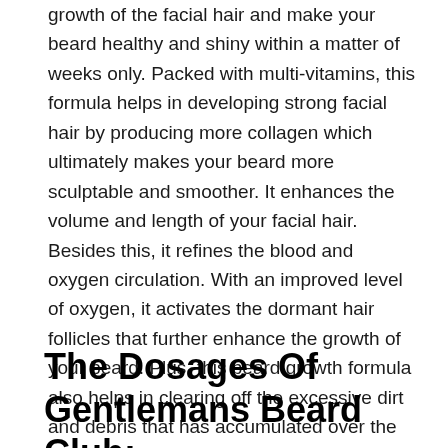growth of the facial hair and make your beard healthy and shiny within a matter of weeks only. Packed with multi-vitamins, this formula helps in developing strong facial hair by producing more collagen which ultimately makes your beard more sculptable and smoother. It enhances the volume and length of your facial hair. Besides this, it refines the blood and oxygen circulation. With an improved level of oxygen, it activates the dormant hair follicles that further enhance the growth of your beard. Plus, this beard growth formula also helps in clearing off the excessive dirt and debris that has accumulated over the time. In this way, this prominent beard growth formula gets you the fuller, denser, and stronger beard you have been craving for long.
The Dosages Of Gentlemans Beard Club: